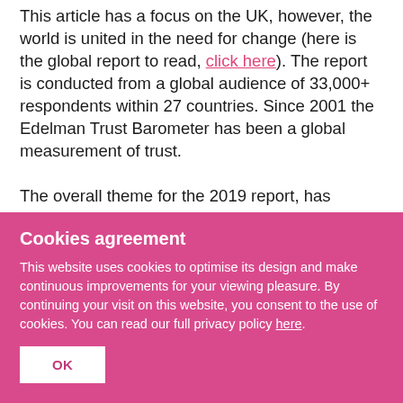This article has a focus on the UK, however, the world is united in the need for change (here is the global report to read, click here). The report is conducted from a global audience of 33,000+ respondents within 27 countries. Since 2001 the Edelman Trust Barometer has been a global measurement of trust.

The overall theme for the 2019 report, has moved to trust at work. There is a shift to
Cookies agreement
This website uses cookies to optimise its design and make continuous improvements for your viewing pleasure. By continuing your visit on this website, you consent to the use of cookies. You can read our full privacy policy here.